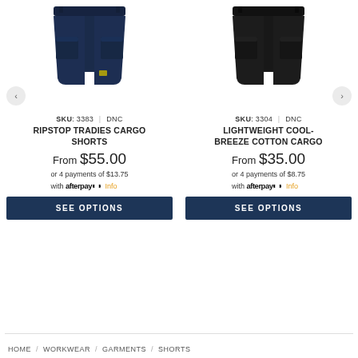[Figure (photo): Navy blue ripstop cargo shorts product image]
SKU: 3383 | DNC
RIPSTOP TRADIES CARGO SHORTS
From $55.00
or 4 payments of $13.75 with afterpay Info
SEE OPTIONS
[Figure (photo): Black lightweight cool-breeze cotton cargo shorts product image]
SKU: 3304 | DNC
LIGHTWEIGHT COOL-BREEZE COTTON CARGO
From $35.00
or 4 payments of $8.75 with afterpay Info
SEE OPTIONS
HOME / WORKWEAR / GARMENTS / SHORTS